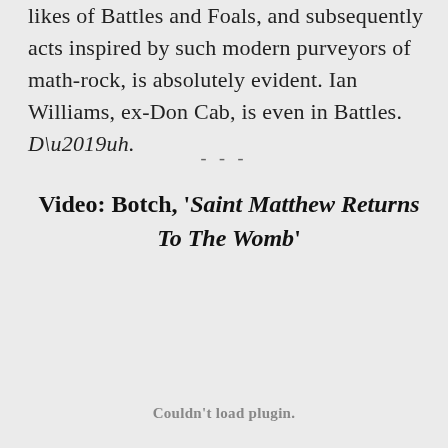likes of Battles and Foals, and subsequently acts inspired by such modern purveyors of math-rock, is absolutely evident. Ian Williams, ex-Don Cab, is even in Battles. D’uh.
---
Video: Botch, ‘Saint Matthew Returns To The Womb’
Couldn't load plugin.